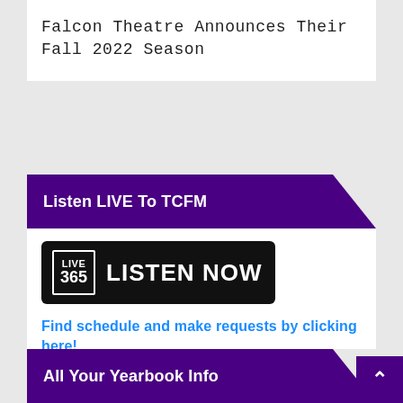Falcon Theatre Announces Their Fall 2022 Season
Listen LIVE To TCFM
[Figure (other): Live 365 Listen Now button - black rounded rectangle with Live 365 logo and LISTEN NOW text in white]
Find schedule and make requests by clicking here!
All Your Yearbook Info